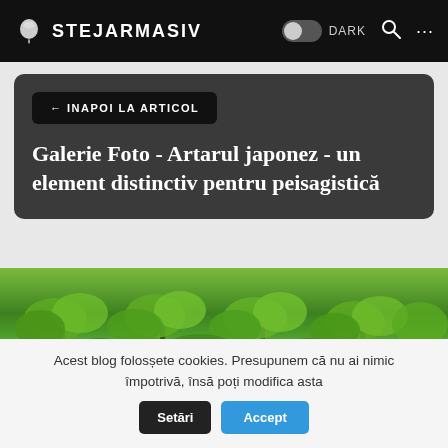STEJARMASIV
← INAPOI LA ARTICOL
Galerie Foto - Artarul japonez - un element distinctiv pentru peisagistică
[Figure (photo): Photo of Japanese maple trees with dense green foliage]
Acest blog folosește cookies. Presupunem că nu ai nimic împotrivă, însă poți modifica asta